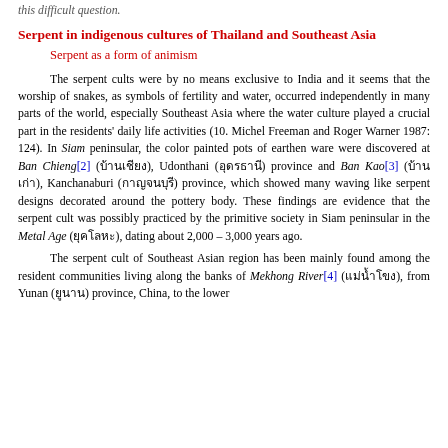this difficult question.
Serpent in indigenous cultures of Thailand and Southeast Asia
Serpent as a form of animism
The serpent cults were by no means exclusive to India and it seems that the worship of snakes, as symbols of fertility and water, occurred independently in many parts of the world, especially Southeast Asia where the water culture played a crucial part in the residents' daily life activities (10. Michel Freeman and Roger Warner 1987: 124). In Siam peninsular, the color painted pots of earthen ware were discovered at Ban Chieng[2] (บ้านเชียง), Udonthani (อุดรธานี) province and Ban Kao[3] (บ้านเก่า), Kanchanaburi (กาญจนบุรี) province, which showed many waving like serpent designs decorated around the pottery body. These findings are evidence that the serpent cult was possibly practiced by the primitive society in Siam peninsular in the Metal Age (ยุคโลหะ), dating about 2,000 – 3,000 years ago.
The serpent cult of Southeast Asian region has been mainly found among the resident communities living along the banks of Mekhong River[4] (แม่น้ำโขง), from Yunan (ยูนาน) province, China, to the lower